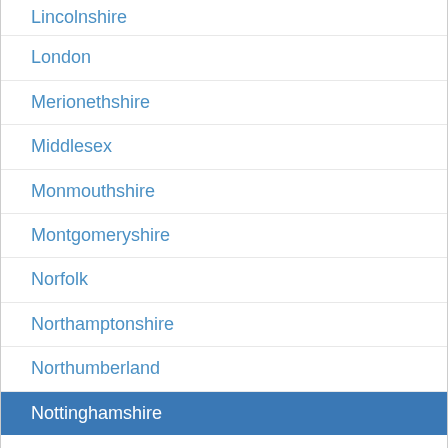Lincolnshire
London
Merionethshire
Middlesex
Monmouthshire
Montgomeryshire
Norfolk
Northamptonshire
Northumberland
Nottinghamshire
Oxfordshire